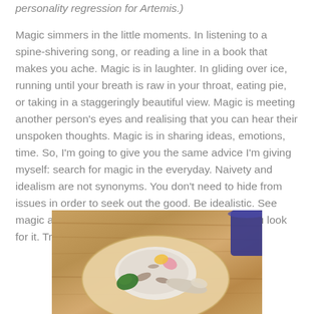personality regression for Artemis.)
Magic simmers in the little moments. In listening to a spine-shivering song, or reading a line in a book that makes you ache. Magic is in laughter. In gliding over ice, running until your breath is raw in your throat, eating pie, or taking in a staggeringly beautiful view. Magic is meeting another person's eyes and realising that you can hear their unspoken thoughts. Magic is in sharing ideas, emotions, time. So, I'm going to give you the same advice I'm giving myself: search for magic in the everyday. Naivety and idealism are not synonyms. You don't need to hide from issues in order to seek out the good. Be idealistic. See magic around you, and make magic. It's there if you look for it. Trust me.
[Figure (photo): A photo of a dessert or food dish served on a round wooden plate, with a white creamy topping garnished with green mint, pink and yellow flower petals, alongside a spoon. A blue cup or bowl is partially visible at the top right. The background is a wooden table surface.]